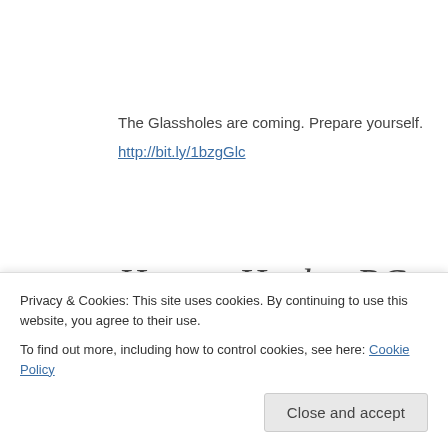The Glassholes are coming. Prepare yourself.
http://bit.ly/1bzgGlc
12
Sunday
Jan 2014
How to Hack a PC
POSTED BY SCORONCOCOLO IN TECH ≈ 1 COMMENT
Privacy & Cookies: This site uses cookies. By continuing to use this website, you agree to their use.
To find out more, including how to control cookies, see here: Cookie Policy
Close and accept